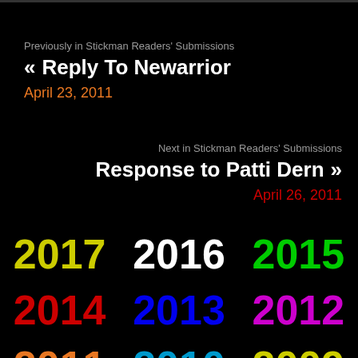Previously in Stickman Readers' Submissions
« Reply To Newarrior
April 23, 2011
Next in Stickman Readers' Submissions
Response to Patti Dern »
April 26, 2011
2017 2016 2015 2014 2013 2012 2011 2010 2009